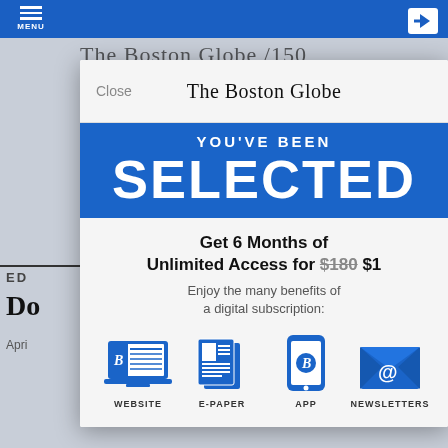[Figure (screenshot): Boston Globe website with a modal subscription offer overlay on a mobile browser screenshot]
The Boston Globe
YOU'VE BEEN
SELECTED
Get 6 Months of Unlimited Access for $180 $1
Enjoy the many benefits of a digital subscription:
[Figure (illustration): Four blue icons: WEBSITE (laptop with Boston Globe), E-PAPER (newspaper), APP (smartphone with B logo), NEWSLETTERS (envelope with @ sign)]